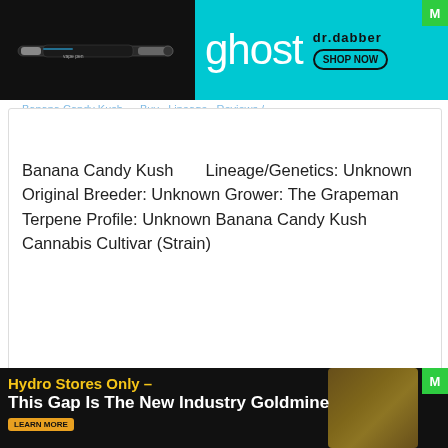[Figure (photo): Top advertisement banner showing a vape pen on dark background on the left, and 'ghost' branding with 'dr.dabber SHOP NOW' on cyan background on the right, with green M badge in corner.]
Candy Kush, The Grapeman
Banana Candy Kush       Lineage/Genetics: Unknown Original Breeder: Unknown Grower: The Grapeman Terpene Profile: Unknown Banana Candy Kush Cannabis Cultivar (Strain)
Read more
[Figure (photo): Bottom advertisement banner with dark background showing 'Hydro Stores Only – This Gap Is The New Industry Goldmine' with yellow and white text, gold coins visible on right side, green M badge in corner, and 'LEARN MORE' button.]